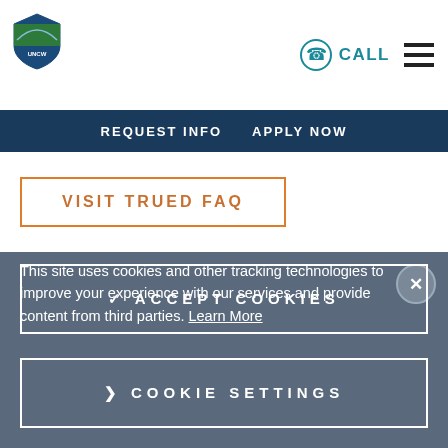University logo | CALL | hamburger menu
REQUEST INFO   APPLY NOW
VISIT TRUED FAQ
This site uses cookies and other tracking technologies to improve your experience with our services and provide content from third parties. Learn More
✓ ACCEPT COOKIES
❯ COOKIE SETTINGS